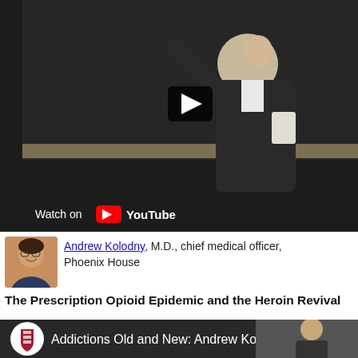[Figure (screenshot): YouTube video thumbnail showing a man in a dark suit jacket giving a lecture, gesturing with one hand raised and holding papers in the other. Dark chalkboard background. Play button visible. 'Watch on YouTube' bar at bottom left.]
[Figure (photo): Small square profile photo of Andrew Kolodny, a man with short dark hair smiling.]
Andrew Kolodny, M.D., chief medical officer, Phoenix House
The Prescription Opioid Epidemic and the Heroin Revival
[Figure (screenshot): Bottom video thumbnail showing Harvard shield logo and title 'Addictions Old and New: Andrew Kolodny' with a person visible at right.]